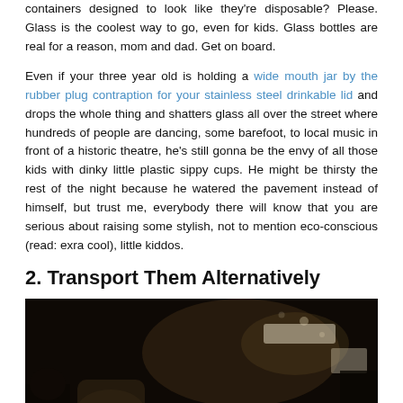containers designed to look like they're disposable? Please. Glass is the coolest way to go, even for kids. Glass bottles are real for a reason, mom and dad. Get on board.

Even if your three year old is holding a wide mouth jar by the rubber plug contraption for your stainless steel drinkable lid and drops the whole thing and shatters glass all over the street where hundreds of people are dancing, some barefoot, to local music in front of a historic theatre, he's still gonna be the envy of all those kids with dinky little plastic sippy cups. He might be thirsty the rest of the night because he watered the pavement instead of himself, but trust me, everybody there will know that you are serious about raising some stylish, not to mention eco-conscious (read: exra cool), little kiddos.
2. Transport Them Alternatively
[Figure (photo): Dark indoor photo showing people in a dimly lit venue, with some blurry lights and figures visible in the background.]